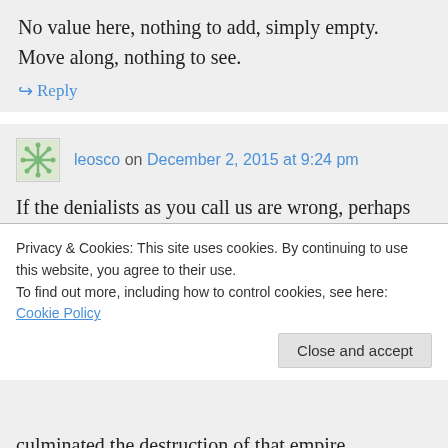No value here, nothing to add, simply empty. Move along, nothing to see.
↪ Reply
leosco on December 2, 2015 at 9:24 pm
If the denialists as you call us are wrong, perhaps someone as obviously well informed as you establish ion could explain
Privacy & Cookies: This site uses cookies. By continuing to use this website, you agree to their use.
To find out more, including how to control cookies, see here: Cookie Policy
Close and accept
culminated the destruction of that empire